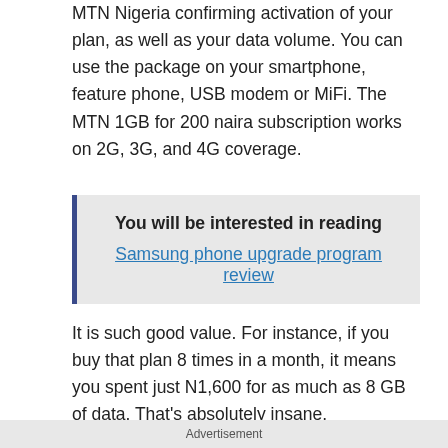MTN Nigeria confirming activation of your plan, as well as your data volume. You can use the package on your smartphone, feature phone, USB modem or MiFi. The MTN 1GB for 200 naira subscription works on 2G, 3G, and 4G coverage.
You will be interested in reading
Samsung phone upgrade program review
It is such good value. For instance, if you buy that plan 8 times in a month, it means you spent just N1,600 for as much as 8 GB of data. That's absolutely insane.
Advertisement